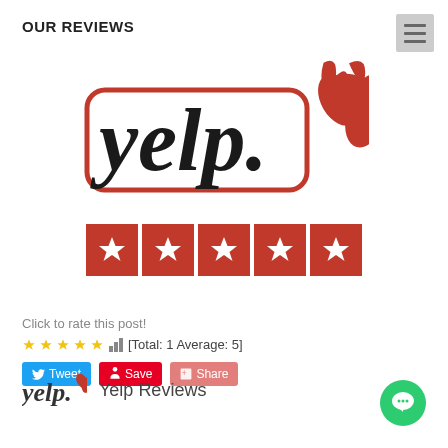OUR REVIEWS
[Figure (logo): Yelp logo with red text and burst icon, followed by five red star rating boxes]
Click to rate this post!
[Total: 1 Average: 5]
Tweet  Save  Share
[Figure (logo): Small Yelp logo]
Yelp Reviews